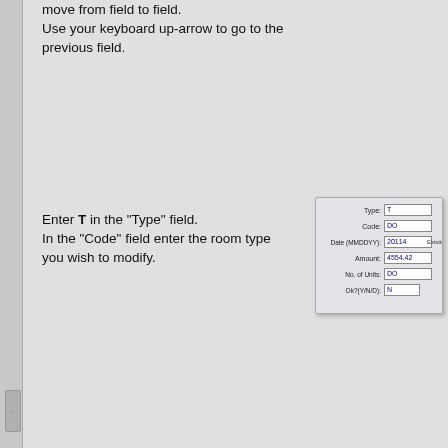move from field to field.
Use your keyboard up-arrow to go to the previous field.
Enter T in the "Type" field.
In the "Code" field enter the room type you wish to modify.
In the "Date" field enter the date you wish to modify.
Use the format MMDDYY.
Enter the dollar amount.
Enter the number of rooms of this type occupied for "No. of Units".
Press Enter at the
[Figure (screenshot): A form dialog showing fields: Type (T), Code (DO), Date MMDDYY (20114), Amount (4554.42), No. of Units (DO), Ok?(Y/N/D): (N). Label 'Existing Record' appears to the right of the Date field.]